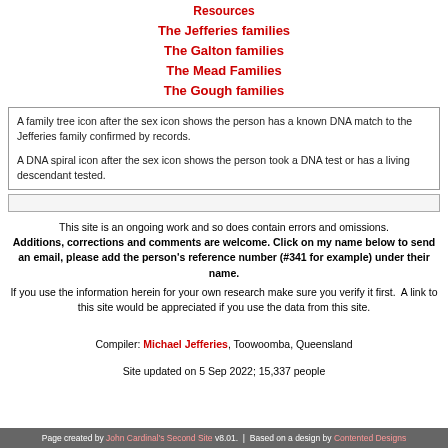Resources
The Jefferies families
The Galton families
The Mead Families
The Gough families
A family tree icon after the sex icon shows the person has a known DNA match to the Jefferies family confirmed by records.

A DNA spiral icon after the sex icon shows the person took a DNA test or has a living descendant tested.
This site is an ongoing work and so does contain errors and omissions. Additions, corrections and comments are welcome. Click on my name below to send an email, please add the person’s reference number (#341 for example) under their name.

If you use the information herein for your own research make sure you verify it first. A link to this site would be appreciated if you use the data from this site.
Compiler: Michael Jefferies, Toowoomba, Queensland
Site updated on 5 Sep 2022; 15,337 people
Page created by John Cardinal’s Second Site v8.01.  |  Based on a design by Contented Designs